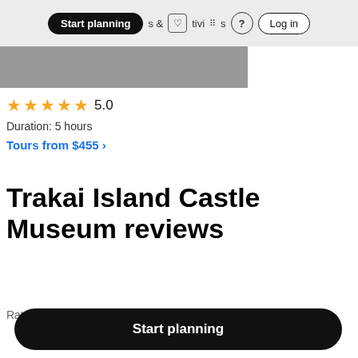Start planning · & Activities · ? · Log in
[Figure (photo): Gray image banner/photo strip]
★★★★★ 5.0
Duration: 5 hours
Tours from $455 ›
Trakai Island Castle Museum reviews
Rate this attraction ☆☆☆☆☆
Start planning